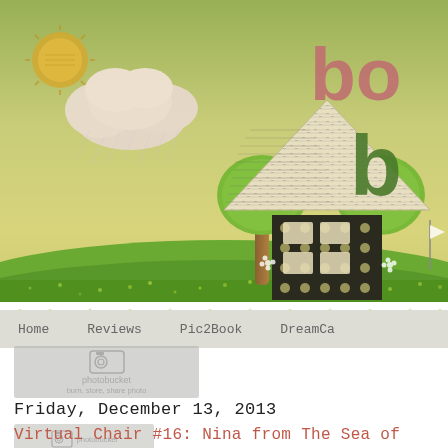[Figure (illustration): Blog header banner illustration: green landscape with a scrapbook-style house made of newspaper print with a triangular roof, two round green trees, a sun with clouds in the upper left, decorative dots on the ground. Partial text 'bo' in coral/red and 'b' in dark green visible on the right side.]
Home   Reviews   Pic2Book   DreamCa
[Figure (photo): Photobucket watermark overlay image placeholder]
Friday, December 13, 2013
[Figure (photo): Photobucket watermark overlay image placeholder]
Virtual Chair #16: Nina from The Sea of